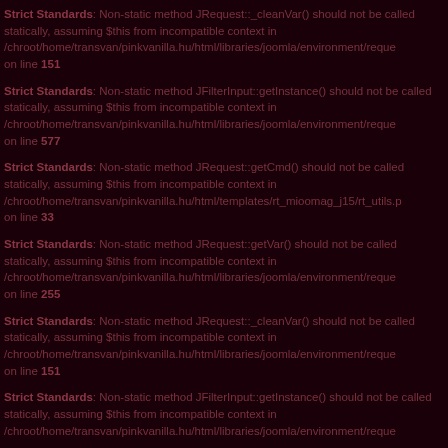Strict Standards: Non-static method JRequest::_cleanVar() should not be called statically, assuming $this from incompatible context in /chroot/home/transvan/pinkvanilla.hu/html/libraries/joomla/environment/reque on line 151
Strict Standards: Non-static method JFilterInput::getInstance() should not be called statically, assuming $this from incompatible context in /chroot/home/transvan/pinkvanilla.hu/html/libraries/joomla/environment/reque on line 577
Strict Standards: Non-static method JRequest::getCmd() should not be called statically, assuming $this from incompatible context in /chroot/home/transvan/pinkvanilla.hu/html/templates/rt_mioomag_j15/rt_utils.p on line 33
Strict Standards: Non-static method JRequest::getVar() should not be called statically, assuming $this from incompatible context in /chroot/home/transvan/pinkvanilla.hu/html/libraries/joomla/environment/reque on line 255
Strict Standards: Non-static method JRequest::_cleanVar() should not be called statically, assuming $this from incompatible context in /chroot/home/transvan/pinkvanilla.hu/html/libraries/joomla/environment/reque on line 151
Strict Standards: Non-static method JFilterInput::getInstance() should not be called statically, assuming $this from incompatible context in